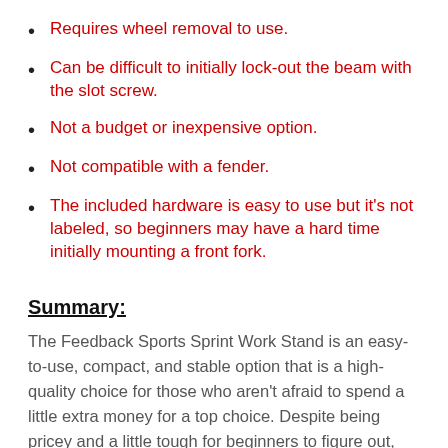Requires wheel removal to use.
Can be difficult to initially lock-out the beam with the slot screw.
Not a budget or inexpensive option.
Not compatible with a fender.
The included hardware is easy to use but it’s not labeled, so beginners may have a hard time initially mounting a front fork.
Summary:
The Feedback Sports Sprint Work Stand is an easy-to-use, compact, and stable option that is a high-quality choice for those who aren’t afraid to spend a little extra money for a top choice. Despite being pricey and a little tough for beginners to figure out, the secure lock on bikes, compatibility with various bikes, and easy-to-use mechanisms make this a great